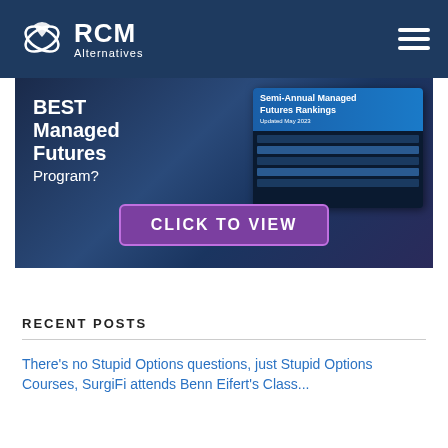[Figure (logo): RCM Alternatives logo with white leaf/wing icon and white text on dark blue header background, with hamburger menu icon on right]
[Figure (infographic): Promotional banner for Best Managed Futures Program with dark blue background, white bold text on left reading BEST Managed Futures Program?, a card on the right showing Semi-Annual Managed Futures Rankings, and a purple CLICK TO VIEW button at the bottom]
RECENT POSTS
There's no Stupid Options questions, just Stupid Options Courses, SurgiFi attends Benn Eifert's Class...